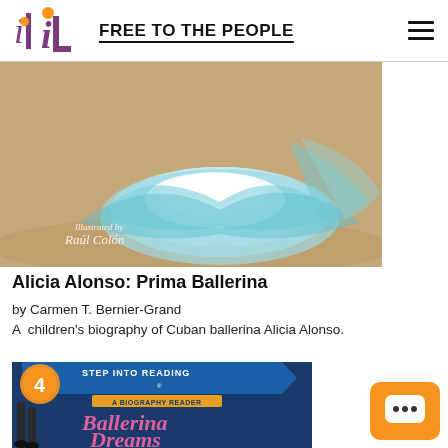FREE TO THE PEOPLE
[Figure (photo): Book cover of 'Alicia Alonso: Prima Ballerina' showing a ballerina in a teal tutu, illustrated by Raúl Colón]
Alicia Alonso: Prima Ballerina
by Carmen T. Bernier-Grand
A  children's biography of Cuban ballerina Alicia Alonso.
[Figure (photo): Book cover of 'Ballerina Dreams' from Step Into Reading Level 4 series, A Biography Reader]